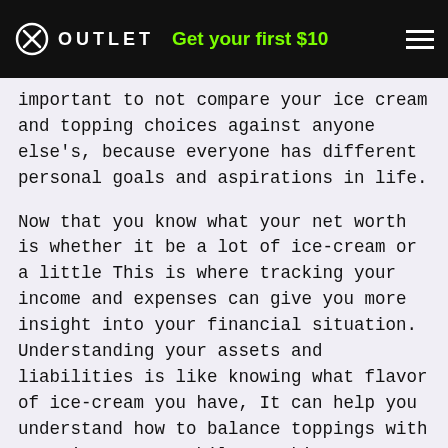OUTLET  Get your first $10
important to not compare your ice cream and topping choices against anyone else's, because everyone has different personal goals and aspirations in life.
Now that you know what your net worth is whether it be a lot of ice-cream or a little This is where tracking your income and expenses can give you more insight into your financial situation. Understanding your assets and liabilities is like knowing what flavor of ice-cream you have, It can help you understand how to balance toppings with your ice-cream. While tracking your expenses can show you how much ice-cream and how many toppings you can fit in your bowl of income and satisfy your